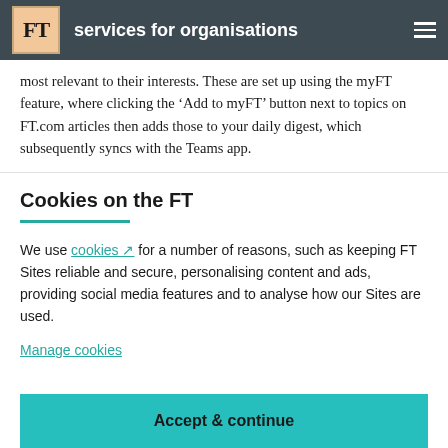FT services for organisations
most relevant to their interests. These are set up using the myFT feature, where clicking the ‘Add to myFT’ button next to topics on FT.com articles then adds those to your daily digest, which subsequently syncs with the Teams app.
Cookies on the FT
We use cookies ↗ for a number of reasons, such as keeping FT Sites reliable and secure, personalising content and ads, providing social media features and to analyse how our Sites are used.
Manage cookies
Accept & continue